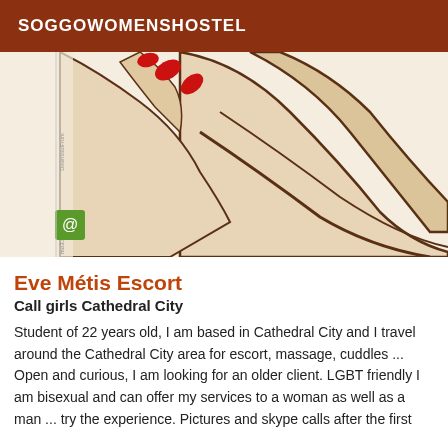SOGGOWOMENSHOSTEL
[Figure (illustration): Illustration of a woman's arm and hand with red fingernails, drawn in a cartoon/vector style with cream and brown tones. A green spiral logo and watermark text visible on the left side.]
Eve Métis Escort
Call girls Cathedral City
Student of 22 years old, I am based in Cathedral City and I travel around the Cathedral City area for escort, massage, cuddles ... Open and curious, I am looking for an older client. LGBT friendly I am bisexual and can offer my services to a woman as well as a man ... try the experience. Pictures and skype calls after the first